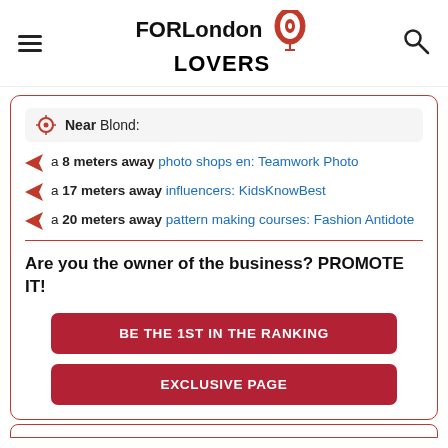FORLondon LOVERS
Near Blond:
a 8 meters away photo shops en: Teamwork Photo
a 17 meters away influencers: KidsKnowBest
a 20 meters away pattern making courses: Fashion Antidote
Are you the owner of the business? PROMOTE IT!
BE THE 1ST IN THE RANKING
EXCLUSIVE PAGE